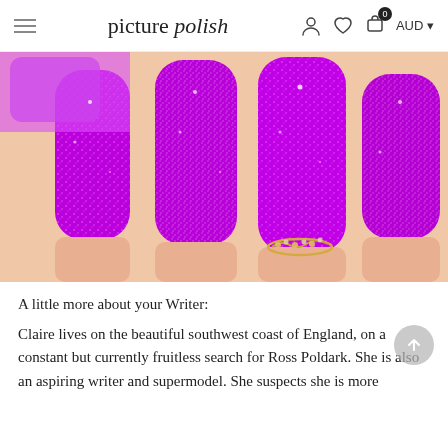picture polish | AUD
[Figure (photo): Close-up photo of bright purple/magenta glittery nail polish on manicured nails, with a gold leaf-shaped ring with crystals on the finger. A purple nail polish bottle is visible in the background.]
A little more about your Writer:
Claire lives on the beautiful southwest coast of England, on a constant but currently fruitless search for Ross Poldark. She is also an aspiring writer and supermodel. She suspects she is more